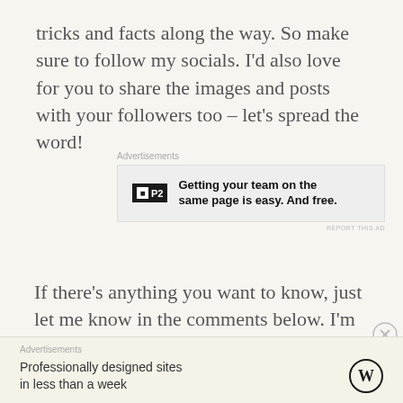tricks and facts along the way. So make sure to follow my socials. I'd also love for you to share the images and posts with your followers too – let's spread the word!
[Figure (other): Advertisement banner for P2 product: 'Getting your team on the same page is easy. And free.']
If there's anything you want to know, just let me know in the comments below. I'm here to support!
Love, always – B
Etsy shop: beccabynature
[Figure (other): Advertisement banner for WordPress: 'Professionally designed sites in less than a week']